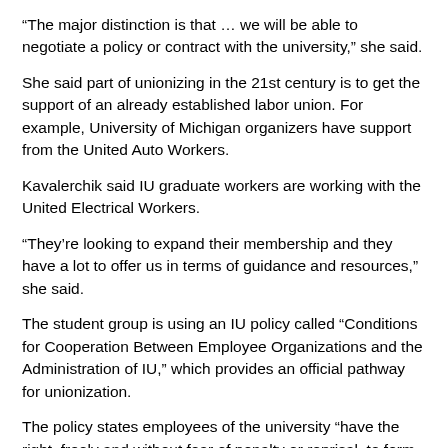“The major distinction is that … we will be able to negotiate a policy or contract with the university,” she said.
She said part of unionizing in the 21st century is to get the support of an already established labor union. For example, University of Michigan organizers have support from the United Auto Workers.
Kavalerchik said IU graduate workers are working with the United Electrical Workers.
“They’re looking to expand their membership and they have a lot to offer us in terms of guidance and resources,” she said.
The student group is using an IU policy called “Conditions for Cooperation Between Employee Organizations and the Administration of IU,” which provides an official pathway for unionization.
The policy states employees of the university “have the right, freely and without fear of penalty or reprisal, to form, join, or assist any lawful employee organization.”